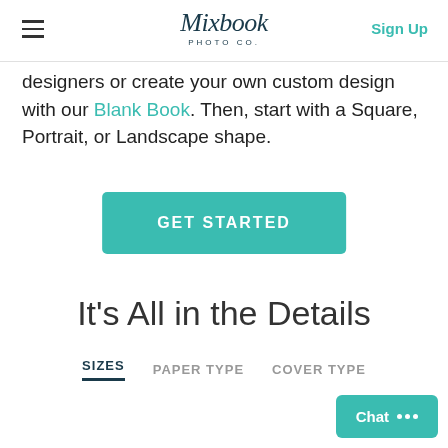Mixbook PHOTO CO. | Sign Up
designers or create your own custom design with our Blank Book. Then, start with a Square, Portrait, or Landscape shape.
[Figure (other): GET STARTED button — teal/green rounded rectangle button with white bold uppercase text]
It's All in the Details
SIZES   PAPER TYPE   COVER TYPE
[Figure (other): Chat button in bottom right corner — teal button with white text 'Chat' and speech bubble dots icon]